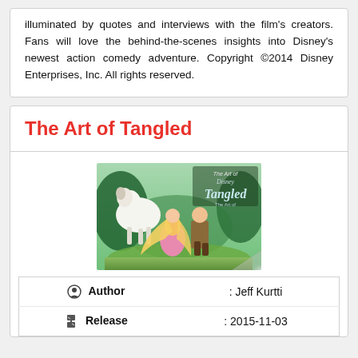illuminated by quotes and interviews with the film's creators. Fans will love the behind-the-scenes insights into Disney's newest action comedy adventure. Copyright ©2014 Disney Enterprises, Inc. All rights reserved.
The Art of Tangled
[Figure (illustration): Book cover of 'The Art of Tangled' showing Disney characters Rapunzel, Flynn Rider, and Maximus the horse in a colorful illustrated scene with the title 'The Art of Tangled' at the top right]
| Author | : Jeff Kurtti |
| Release | : 2015-11-03 |